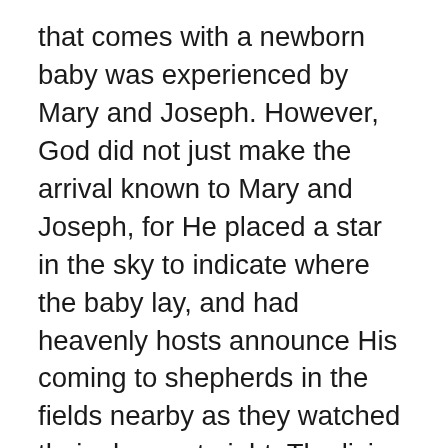that comes with a newborn baby was experienced by Mary and Joseph. However, God did not just make the arrival known to Mary and Joseph, for He placed a star in the sky to indicate where the baby lay, and had heavenly hosts announce His coming to shepherds in the fields nearby as they watched their sheep at night. The living gift. God with us is a gift that knows no end. Each name foretold has proven true again and again throughout the ages. Jesus indeed is a Wonderful Counselor, the Mighty God, the Everlasting Father and the Prince of Peace. He comforts us in our time of need, He is more powerful than anything that might come against us. He is the same yesterday, today